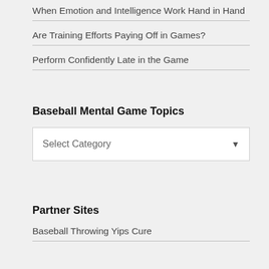When Emotion and Intelligence Work Hand in Hand
Are Training Efforts Paying Off in Games?
Perform Confidently Late in the Game
Baseball Mental Game Topics
Select Category
Partner Sites
Baseball Throwing Yips Cure